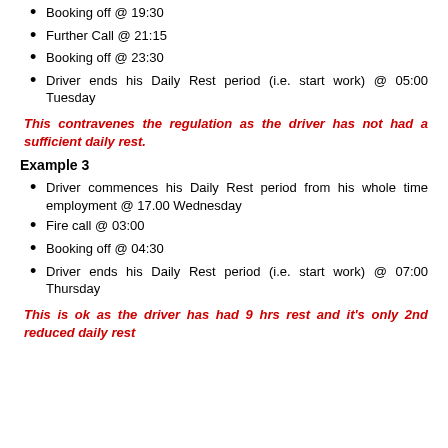Booking off @ 19:30
Further Call @ 21:15
Booking off @ 23:30
Driver ends his Daily Rest period (i.e. start work) @ 05:00 Tuesday
This contravenes the regulation as the driver has not had a sufficient daily rest.
Example 3
Driver commences his Daily Rest period from his whole time employment @ 17.00 Wednesday
Fire call @ 03:00
Booking off @ 04:30
Driver ends his Daily Rest period (i.e. start work) @ 07:00 Thursday
This is ok as the driver has had 9 hrs rest and it's only 2nd reduced daily rest